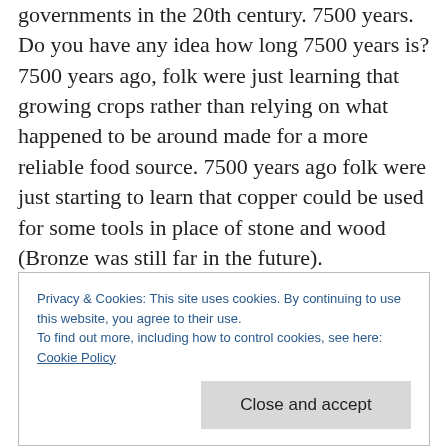governments in the 20th century. 7500 years. Do you have any idea how long 7500 years is? 7500 years ago, folk were just learning that growing crops rather than relying on what happened to be around made for a more reliable food source. 7500 years ago folk were just starting to learn that copper could be used for some tools in place of stone and wood (Bronze was still far in the future).
The longest any government anywhere has
Privacy & Cookies: This site uses cookies. By continuing to use this website, you agree to their use.
To find out more, including how to control cookies, see here:
Cookie Policy
Close and accept
order for criminal homicides to catch up with